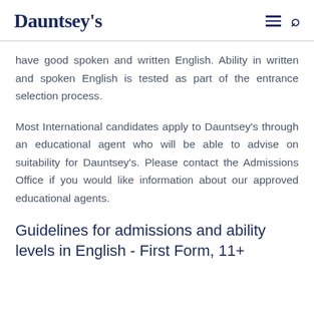Dauntsey's
have good spoken and written English. Ability in written and spoken English is tested as part of the entrance selection process.
Most International candidates apply to Dauntsey's through an educational agent who will be able to advise on suitability for Dauntsey's. Please contact the Admissions Office if you would like information about our approved educational agents.
Guidelines for admissions and ability levels in English - First Form, 11+